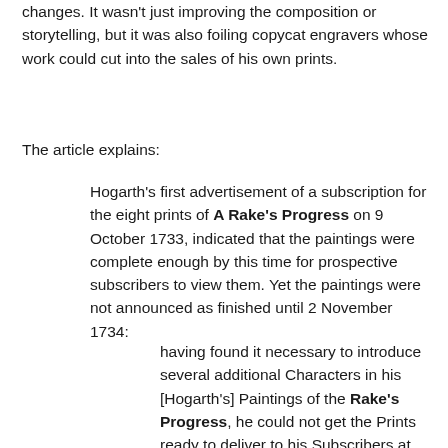changes. It wasn't just improving the composition or storytelling, but it was also foiling copycat engravers whose work could cut into the sales of his own prints.
The article explains:
Hogarth's first advertisement of a subscription for the eight prints of A Rake's Progress on 9 October 1733, indicated that the paintings were complete enough by this time for prospective subscribers to view them. Yet the paintings were not announced as finished until 2 November 1734:
having found it necessary to introduce several additional Characters in his [Hogarth's] Paintings of the Rake's Progress, he could not get the Prints ready to deliver to his Subscribers at Michaelmas [Sept.29] last (as he proposed.) But all the Pictures being now entirely finished, may be seen at